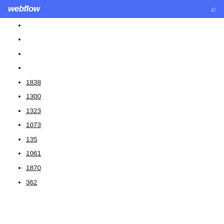webflow
1838
1300
1323
1073
135
1061
1870
362